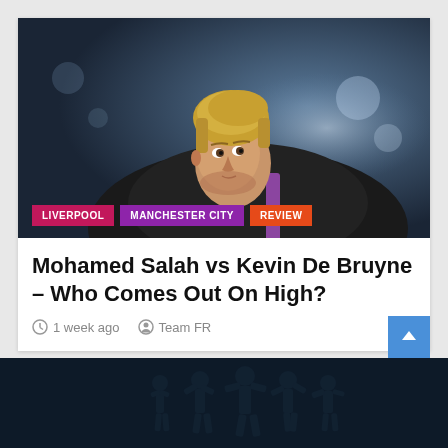[Figure (photo): Blonde footballer (Kevin De Bruyne) in dark training jacket with purple stripe, looking over his shoulder against a blurred stadium background. Tags overlaid: LIVERPOOL, MANCHESTER CITY, REVIEW]
Mohamed Salah vs Kevin De Bruyne – Who Comes Out On High?
1 week ago   Team FR